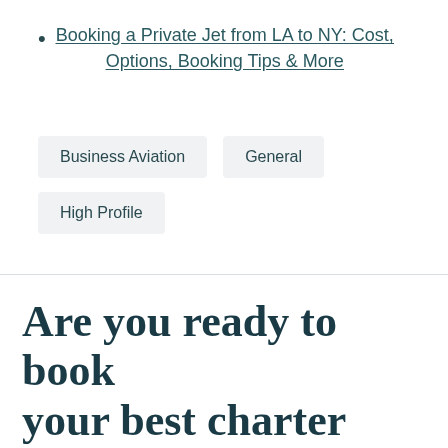Booking a Private Jet from LA to NY: Cost, Options, Booking Tips & More
Business Aviation
General
High Profile
Are you ready to book your best charter flight yet?